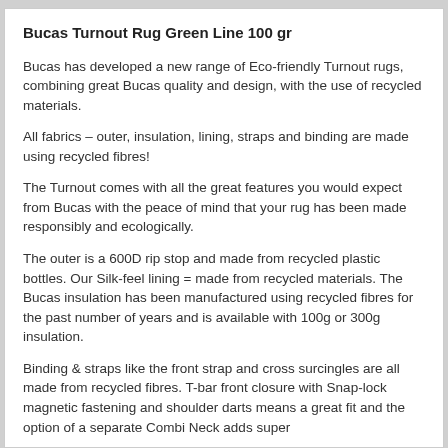Bucas Turnout Rug Green Line 100 gr
Bucas has developed a new range of Eco-friendly Turnout rugs, combining great Bucas quality and design, with the use of recycled materials.
All fabrics – outer, insulation, lining, straps and binding are made using recycled fibres!
The Turnout comes with all the great features you would expect from Bucas with the peace of mind that your rug has been made responsibly and ecologically.
The outer is a 600D rip stop and made from recycled plastic bottles. Our Silk-feel lining = made from recycled materials. The Bucas insulation has been manufactured using recycled fibres for the past number of years and is available with 100g or 300g insulation.
Binding & straps like the front strap and cross surcingles are all made from recycled fibres. T-bar front closure with Snap-lock magnetic fastening and shoulder darts means a great fit and the option of a separate Combi Neck adds super